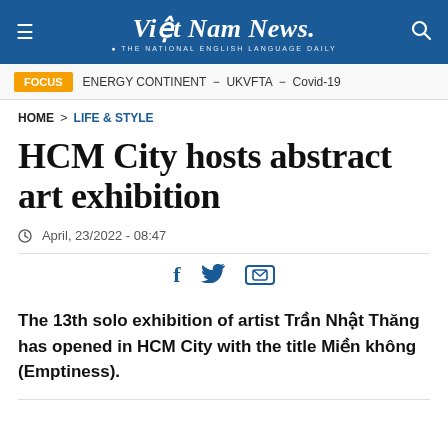Việt Nam News. THE NATIONAL ENGLISH LANGUAGE DAILY
FOCUS   ENERGY CONTINENT – UKVFTA – Covid-19
HOME > LIFE & STYLE
HCM City hosts abstract art exhibition
April, 23/2022 - 08:47
The 13th solo exhibition of artist Trần Nhật Thăng has opened in HCM City with the title Miền không (Emptiness).